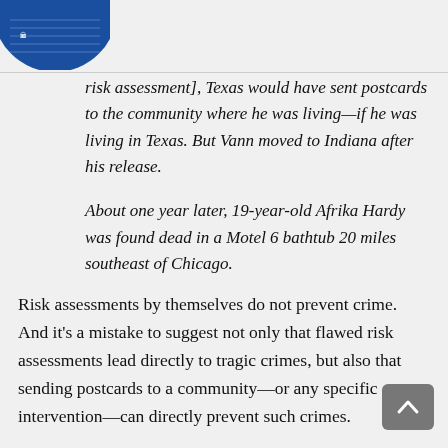[Figure (logo): Partial blue circular logo/seal visible at top left corner]
risk assessment], Texas would have sent postcards to the community where he was living—if he was living in Texas. But Vann moved to Indiana after his release.
About one year later, 19-year-old Afrika Hardy was found dead in a Motel 6 bathtub 20 miles southeast of Chicago.
Risk assessments by themselves do not prevent crime. And it's a mistake to suggest not only that flawed risk assessments lead directly to tragic crimes, but also that sending postcards to a community—or any specific intervention—can directly prevent such crimes.